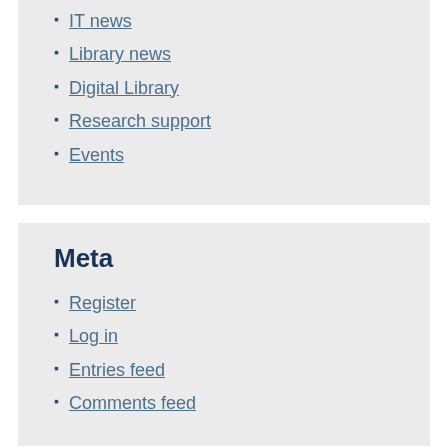IT news
Library news
Digital Library
Research support
Events
Meta
Register
Log in
Entries feed
Comments feed